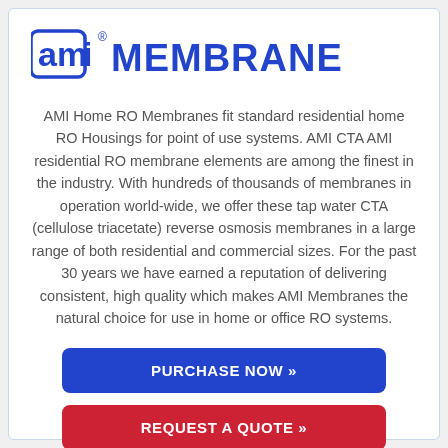[Figure (logo): AMI Membranes logo with stylized 'ami' icon and text 'MEMBRANES' in blue]
AMI Home RO Membranes fit standard residential home RO Housings for point of use systems. AMI CTA AMI residential RO membrane elements are among the finest in the industry. With hundreds of thousands of membranes in operation world-wide, we offer these tap water CTA (cellulose triacetate) reverse osmosis membranes in a large range of both residential and commercial sizes. For the past 30 years we have earned a reputation of delivering consistent, high quality which makes AMI Membranes the natural choice for use in home or office RO systems.
PURCHASE NOW »
REQUEST A QUOTE »